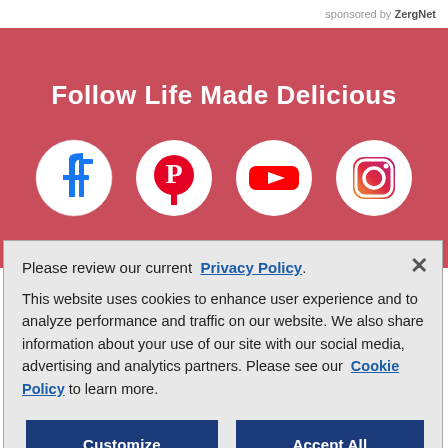sponsored by ZergNet
Follow Life Made Delicious
[Figure (illustration): Four social media icons in white circles on red background: Facebook, Pinterest, YouTube, Instagram]
Please review our current Privacy Policy.
This website uses cookies to enhance user experience and to analyze performance and traffic on our website. We also share information about your use of our site with our social media, advertising and analytics partners. Please see our Cookie Policy to learn more.
Customize Settings
Accept All Cookies